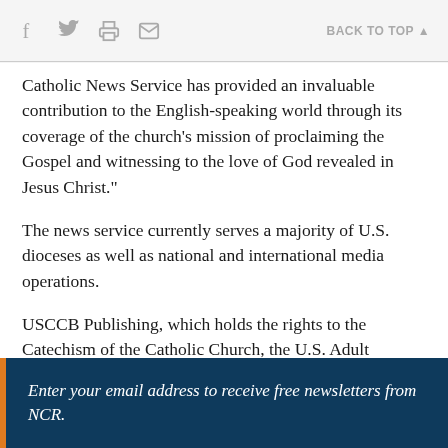f  [twitter]  [print]  [email]  BACK TO TOP ▲
Catholic News Service has provided an invaluable contribution to the English-speaking world through its coverage of the church's mission of proclaiming the Gospel and witnessing to the love of God revealed in Jesus Christ."
The news service currently serves a majority of U.S. dioceses as well as national and international media operations.
USCCB Publishing, which holds the rights to the Catechism of the Catholic Church, the U.S. Adult Catechism and many other books, will cease its publishing operations at the end of 2022.
Enter your email address to receive free newsletters from NCR.